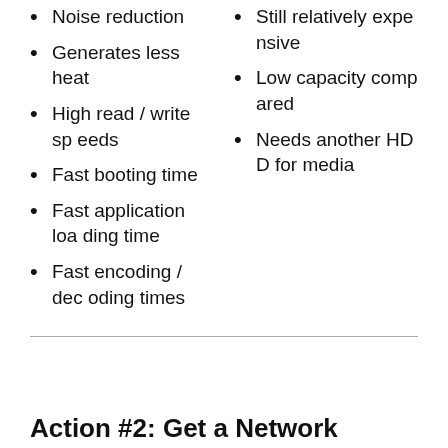Noise reduction
Generates less heat
High read / write speeds
Fast booting time
Fast application loading time
Fast encoding / decoding times
Still relatively expensive
Low capacity compared
Needs another HDD for media
Action #2: Get a Network